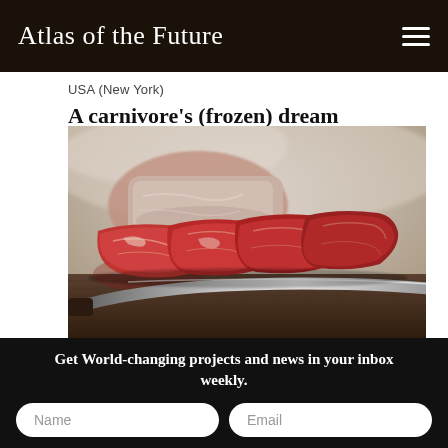Atlas of the Future
USA (New York)
A carnivore's (frozen) dream
[Figure (photo): Raw cuts of meat including steak and beef pieces arranged on a dark cutting board with a large knife, misty/steamy background]
Get World-changing projects and news in your inbox weekly.
Name
Email